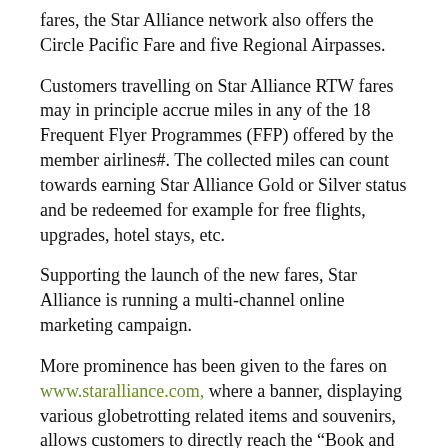fares, the Star Alliance network also offers the Circle Pacific Fare and five Regional Airpasses.
Customers travelling on Star Alliance RTW fares may in principle accrue miles in any of the 18 Frequent Flyer Programmes (FFP) offered by the member airlines#. The collected miles can count towards earning Star Alliance Gold or Silver status and be redeemed for example for free flights, upgrades, hotel stays, etc.
Supporting the launch of the new fares, Star Alliance is running a multi-channel online marketing campaign.
More prominence has been given to the fares on www.staralliance.com, where a banner, displaying various globetrotting related items and souvenirs, allows customers to directly reach the “Book and Fly” section. This will be mirrored by the Star Alliance member airline websites, which now also feature the new imagery and link to “Book and Fly”.
Furthermore, travel relevant internet sites such asTripadvisor.com, Linkedin.com, Expedia.com, CNN.com and Seat Guru.com will also carry the Star Alliance campaign imagery and text.